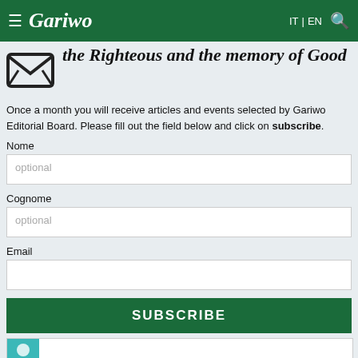Gariwo | IT | EN
the Righteous and the memory of Good
Once a month you will receive articles and events selected by Gariwo Editorial Board. Please fill out the field below and click on subscribe.
Nome
optional
Cognome
optional
Email
SUBSCRIBE